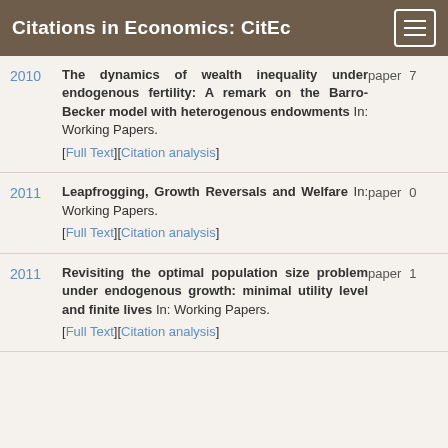Citations in Economics: CitEc
2010 — The dynamics of wealth inequality under endogenous fertility: A remark on the Barro-Becker model with heterogenous endowments In: Working Papers. [Full Text][Citation analysis] paper 7
2011 — Leapfrogging, Growth Reversals and Welfare In: Working Papers. [Full Text][Citation analysis] paper 0
2011 — Revisiting the optimal population size problem under endogenous growth: minimal utility level and finite lives In: Working Papers. [Full Text][Citation analysis] paper 1